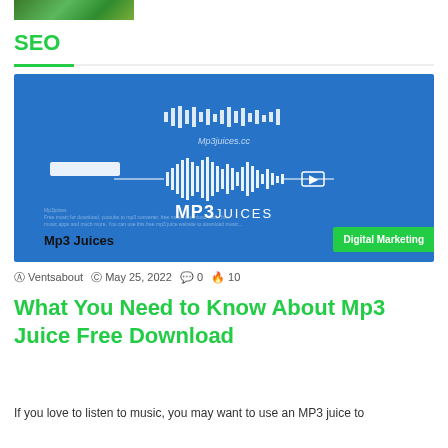[Figure (photo): Small thumbnail image of green nature/forest scene]
SEO
[Figure (photo): MP3 Juices website screenshot on blue background with waveform graphic and 'Digital Marketing' badge in bottom right corner]
Ventsabout   May 25, 2022   0   10
What You Need to Know About Mp3 Juice Free Download
If you love to listen to music, you may want to use an MP3 juice to